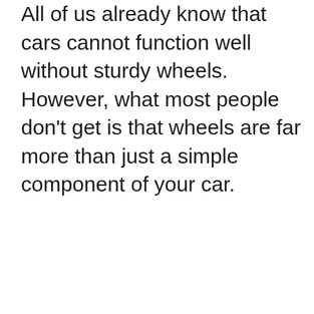All of us already know that cars cannot function well without sturdy wheels. However, what most people don’t get is that wheels are far more than just a simple component of your car.